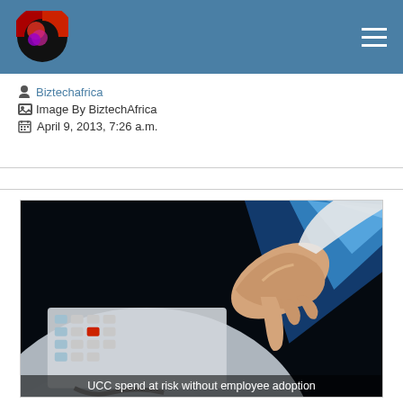BiztechAfrica header with logo and navigation menu
Biztechafrica
Image By BiztechAfrica
April 9, 2013, 7:26 a.m.
[Figure (photo): A hand pressing buttons on a telephone/communications device with blue light beams in the background, representing unified communications and collaboration technology.]
UCC spend at risk without employee adoption